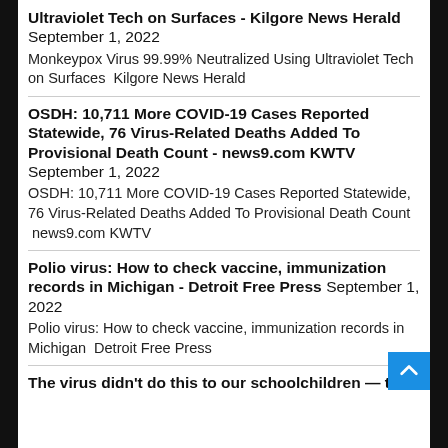Ultraviolet Tech on Surfaces - Kilgore News Herald September 1, 2022 Monkeypox Virus 99.99% Neutralized Using Ultraviolet Tech on Surfaces  Kilgore News Herald
OSDH: 10,711 More COVID-19 Cases Reported Statewide, 76 Virus-Related Deaths Added To Provisional Death Count - news9.com KWTV September 1, 2022 OSDH: 10,711 More COVID-19 Cases Reported Statewide, 76 Virus-Related Deaths Added To Provisional Death Count  news9.com KWTV
Polio virus: How to check vaccine, immunization records in Michigan - Detroit Free Press September 1, 2022 Polio virus: How to check vaccine, immunization records in Michigan  Detroit Free Press
The virus didn't do this to our schoolchildren — the